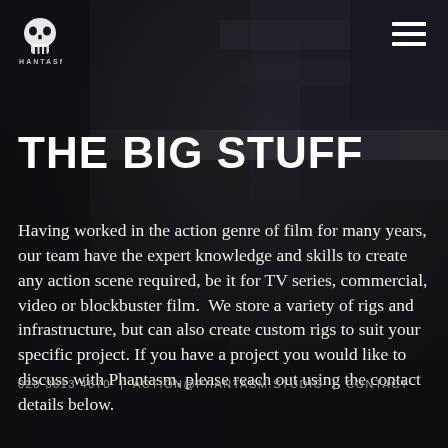[Figure (photo): Dark moody background photo of an industrial/urban scene with heavy machinery or vehicles in low light, dark grey and black tones]
PHANTASM
THE BIG STUFF
Having worked in the action genre of film for many years, our team have the expert knowledge and skills to create any action scene required, be it for TV series, commercial, video or blockbuster film.  We store a variety of rigs and infrastructure, but can also create custom rigs to suit your specific project. If you have a project you would like to discuss with Phantasm, please reach out using the contact details below.
020 3813 4670  |  ACTION@PHANTASM.STUDIO  |  CONTACT